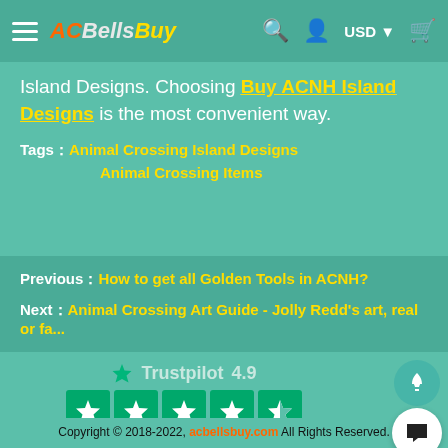ACBellsBuy — USD — navigation header
Island Designs. Choosing Buy ACNH Island Designs is the most convenient way.
Tags: Animal Crossing Island Designs | Animal Crossing Items
Previous: How to get all Golden Tools in ACNH?
Next: Animal Crossing Art Guide - Jolly Redd's art, real or fa...
[Figure (infographic): Trustpilot 4.9 rating with 5 green star boxes and floating chat/rocket icons]
Copyright © 2018-2022, acbellsbuy.com All Rights Reserved.